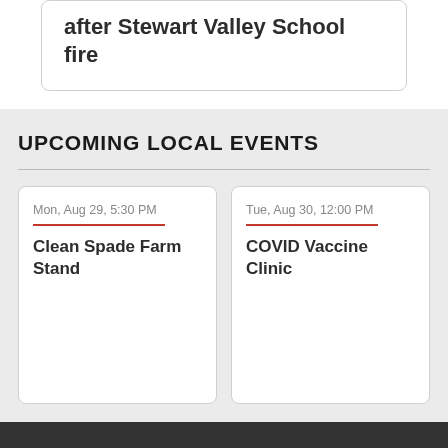after Stewart Valley School fire
UPCOMING LOCAL EVENTS
Mon, Aug 29, 5:30 PM
Clean Spade Farm Stand
Tue, Aug 30, 12:00 PM
COVID Vaccine Clinic